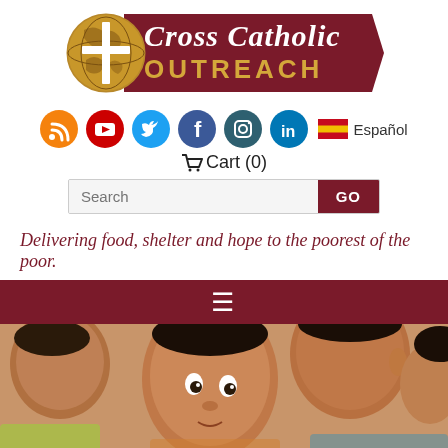[Figure (logo): Cross Catholic Outreach logo — globe with cross on dark red parallelogram banner with gold 'Cross Catholic' serif italic text and 'OUTREACH' in gold capitals]
[Figure (infographic): Row of social media icons (RSS, YouTube, Twitter, Facebook, Instagram, LinkedIn) and Spanish flag with 'Español' text]
Cart (0)
Search GO
Delivering food, shelter and hope to the poorest of the poor.
[Figure (photo): Close-up photo of multiple children's faces/heads, appearing to be from Southeast Asia or Latin America]